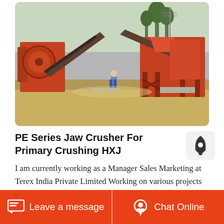[Figure (photo): Outdoor photo of a large PE Series jaw crusher plant with orange/red machinery, conveyor belts, and a worker standing in front at an industrial site.]
PE Series Jaw Crusher For Primary Crushing HXJ
I am currently working as a Manager Sales Marketing at Terex India Private Limited Working on various projects nationally internationally which indeed helped me to gain an indepth knowledge in Crushing Screening Plants and Single Equipments like Jaw Crusher Cone Crusher Vertical Shaft Impactors Vibrating Screen Grizzly
Leave a message   Chat Online